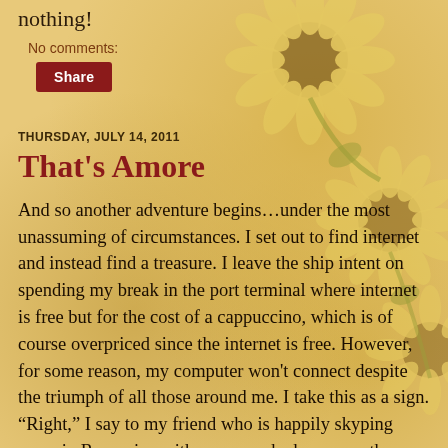nothing!
No comments:
Share
THURSDAY, JULY 14, 2011
That's Amore
And so another adventure begins...under the most unassuming of circumstances. I set out to find internet and instead find a treasure. I leave the ship intent on spending my break in the port terminal where internet is free but for the cost of a cappuccino, which is of course overpriced since the internet is free. However, for some reason, my computer won't connect despite the triumph of all those around me. I take this as a sign. “Right,” I say to my friend who is happily skyping away in Romanian with everyone he knows on the planet, “I am off.” He looks at me quizzically asking if I am still unsuccessful. Nonsense, there is no failure here, just a change in purpose. So off I go, heading on foot towards the pizzoria I have heard has amazing food and free internet, but